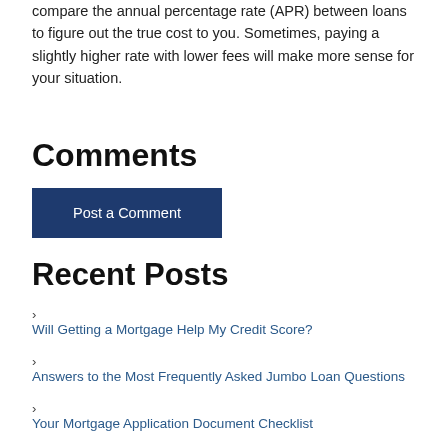compare the annual percentage rate (APR) between loans to figure out the true cost to you. Sometimes, paying a slightly higher rate with lower fees will make more sense for your situation.
Comments
Post a Comment
Recent Posts
Will Getting a Mortgage Help My Credit Score?
Answers to the Most Frequently Asked Jumbo Loan Questions
Your Mortgage Application Document Checklist